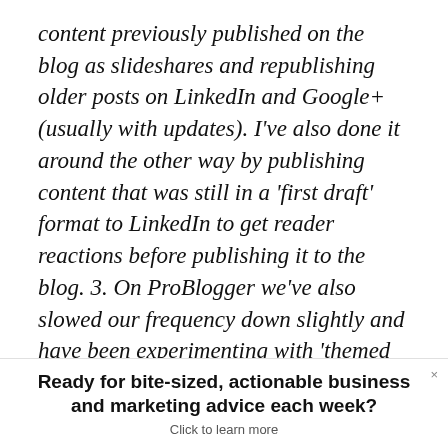content previously published on the blog as slideshares and republishing older posts on LinkedIn and Google+ (usually with updates). I've also done it around the other way by publishing content that was still in a 'first draft' format to LinkedIn to get reader reactions before publishing it to the blog. 3. On ProBlogger we've also slowed our frequency down slightly and have been experimenting with 'themed weeks' where we tackle a larger topic over a series of posts over 5–6 days. This means we've been able to dig deeper into topics and
Ready for bite-sized, actionable business and marketing advice each week?
Click to learn more